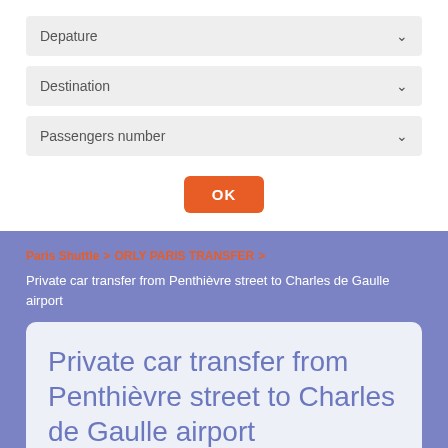[Figure (screenshot): Dropdown form with Depature, Destination, and Passengers number fields, plus an OK button]
Paris Shuttle > ORLY PARIS TRANSFER >
Private car transfer from Penthièvre street to Charles de Gaulle airport
Private car transfer from Penthièvre street to Charles de Gaulle airport